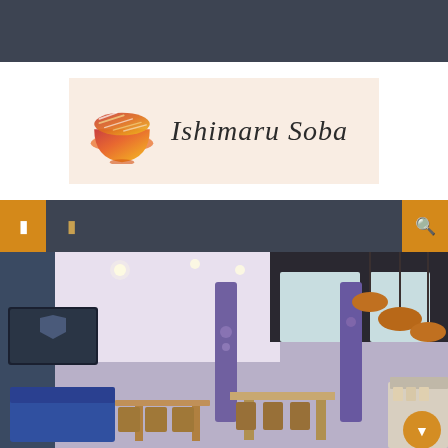[Figure (other): Dark gray top banner bar]
[Figure (logo): Ishimaru Soba restaurant logo with a bowl icon on a light peach background. Bowl is orange-red gradient with noodle lines on top. Text reads 'Ishimaru Soba' in italic serif font.]
[Figure (other): Dark navigation bar with orange icon boxes on left (menu and another icon) and right (search icon)]
[Figure (photo): Interior photo of Ishimaru Soba restaurant showing modern dining area with blue booths, wooden tables, purple decorative columns with floral motifs, pendant lights, and large windows]